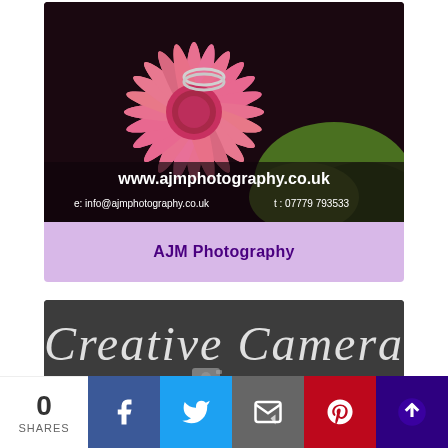[Figure (photo): Close-up photo of a pink gerbera daisy with wedding rings resting on the petals, and green foliage in the background. Text overlay shows website URL and contact details: www.ajmphotography.co.uk, e: info@ajmphotography.co.uk, t: 07779 793533. Below the photo is a lavender/purple bar with 'AJM Photography' in bold purple text.]
AJM Photography
[Figure (photo): Dark grey background with large italic script text reading 'Creative Camera' in white/light grey, with a small camera icon below.]
0
SHARES